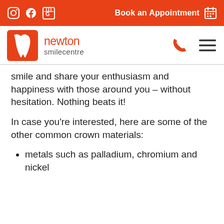Book an Appointment
[Figure (logo): Newton Smile Centre logo with orange tooth icon and orange/grey text]
smile and share your enthusiasm and happiness with those around you – without hesitation. Nothing beats it!
In case you're interested, here are some of the other common crown materials:
metals such as palladium, chromium and nickel